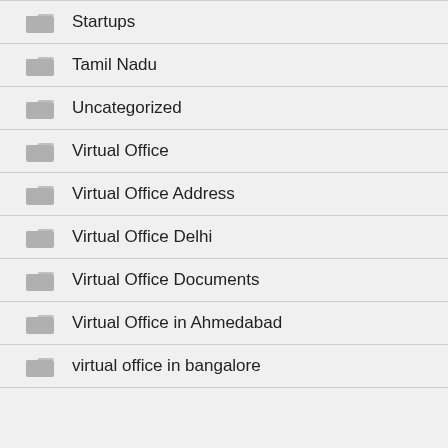Startups
Tamil Nadu
Uncategorized
Virtual Office
Virtual Office Address
Virtual Office Delhi
Virtual Office Documents
Virtual Office in Ahmedabad
virtual office in bangalore